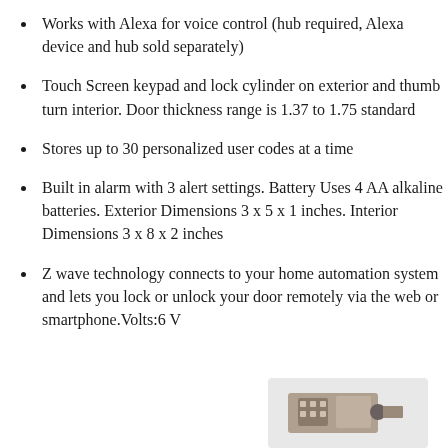Works with Alexa for voice control (hub required, Alexa device and hub sold separately)
Touch Screen keypad and lock cylinder on exterior and thumb turn interior. Door thickness range is 1.37 to 1.75 standard
Stores up to 30 personalized user codes at a time
Built in alarm with 3 alert settings. Battery Uses 4 AA alkaline batteries. Exterior Dimensions 3 x 5 x 1 inches. Interior Dimensions 3 x 8 x 2 inches
Z wave technology connects to your home automation system and lets you lock or unlock your door remotely via the web or smartphone.Volts:6 V
[Figure (photo): Partial image of a door lock product at bottom right corner of page]